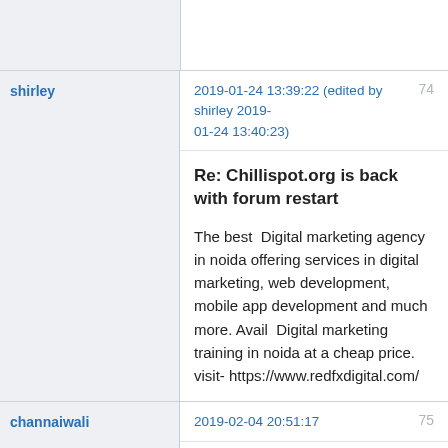shirley
2019-01-24 13:39:22 (edited by shirley 2019-01-24 13:40:23)  74
Re: Chillispot.org is back with forum restart
The best  Digital marketing agency in noida offering services in digital marketing, web development, mobile app development and much more. Avail  Digital marketing training in noida at a cheap price.
visit- https://www.redfxdigital.com/
channaiwali
2019-02-04 20:51:17  75
Re: Chillispot.org is back with forum restart
hi this is offering service-